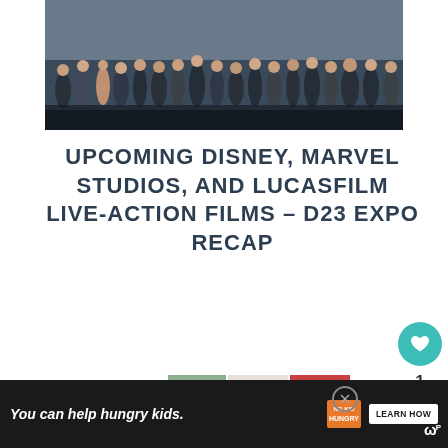[Figure (photo): Group photo of Marvel/Disney/Lucasfilm cast members on stage at D23 Expo, many people in a line on a dark stage]
UPCOMING DISNEY, MARVEL STUDIOS, AND LUCASFILM LIVE-ACTION FILMS – D23 EXPO RECAP
[Figure (photo): Collage of Captain America themed party food and decorations — red, white and blue themed items]
[Figure (photo): Food Allergy Travel Tips thumbnail - dark food photo]
WHAT'S NEXT → Food Allergy Travel Tips
You can help hungry kids. NO KID HUNGRY LEARN HOW